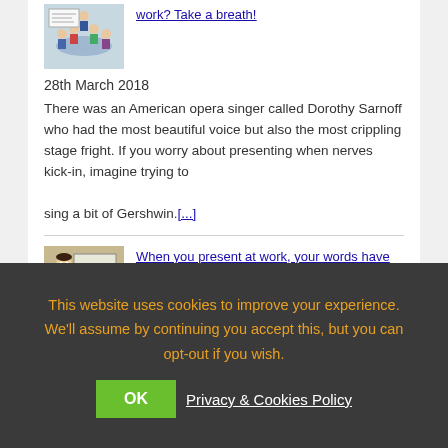[Figure (photo): Photo of people in a business meeting around a table with a presenter at a whiteboard]
work? Take a breath!
28th March 2018
There was an American opera singer called Dorothy Sarnoff who had the most beautiful voice but also the most crippling stage fright. If you worry about presenting when nerves kick-in, imagine trying to sing a bit of Gershwin.[...]
[Figure (illustration): Cartoon illustration of a man in a suit pointing at a whiteboard]
When you present at work, your words have power
18th September 2017
This website uses cookies to improve your experience. We'll assume by continuing you accept this, but you can opt-out if you wish.  OK  Privacy & Cookies Policy